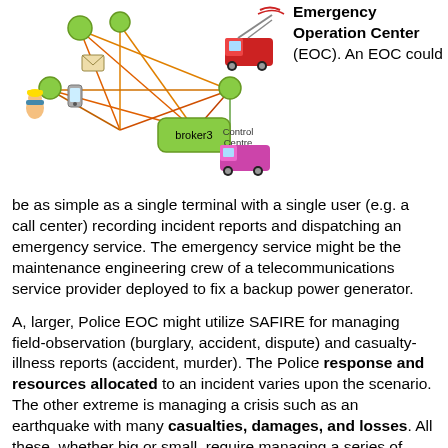[Figure (illustration): Network diagram showing connected nodes including broker3, Control Centre, emergency vehicles, a person, mobile phone, envelope/mail icon, and other communication elements connected by colored lines]
Emergency Operation Center (EOC). An EOC could be as simple as a single terminal with a single user (e.g. a call center) recording incident reports and dispatching an emergency service. The emergency service might be the maintenance engineering crew of a telecommunications service provider deployed to fix a backup power generator.
A, larger, Police EOC might utilize SAFIRE for managing field-observation (burglary, accident, dispute) and casualty-illness reports (accident, murder). The Police response and resources allocated to an incident varies upon the scenario. The other extreme is managing a crisis such as an earthquake with many casualties, damages, and losses. All these, whether big or small, require managing a series of response actions (or inactions) and sharing information with a Multi-Agency Coordination System (MACS).